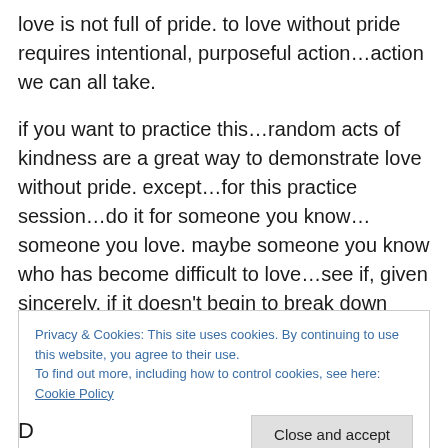love is not full of pride. to love without pride requires intentional, purposeful action…action we can all take.
if you want to practice this…random acts of kindness are a great way to demonstrate love without pride. except…for this practice session…do it for someone you know…someone you love. maybe someone you know who has become difficult to love…see if, given sincerely, if it doesn't begin to break down some of those walls of defence.
i'm pretty sure you will find that real love will make a real
Privacy & Cookies: This site uses cookies. By continuing to use this website, you agree to their use.
To find out more, including how to control cookies, see here: Cookie Policy
Close and accept